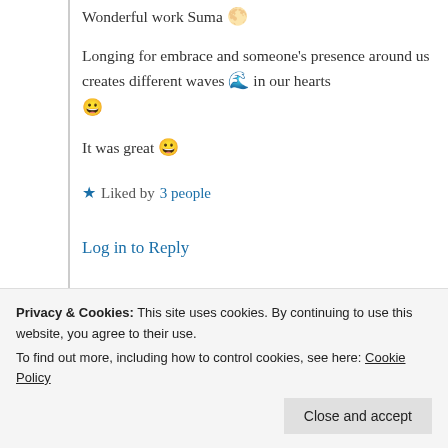Wonderful work Suma 🌕
Longing for embrace and someone's presence around us creates different waves 🌊 in our hearts 😀
It was great 😀
★ Liked by 3 people
Log in to Reply
you for your beautiful thoughts 🤗❤
Privacy & Cookies: This site uses cookies. By continuing to use this website, you agree to their use. To find out more, including how to control cookies, see here: Cookie Policy
Close and accept